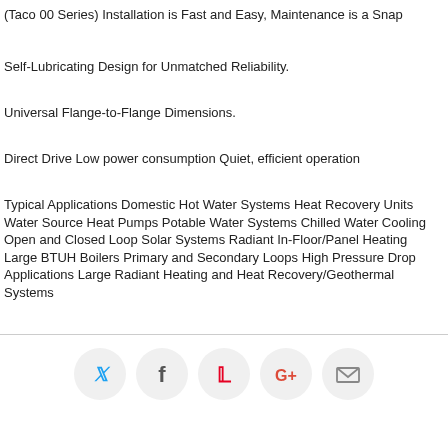(Taco 00 Series) Installation is Fast and Easy, Maintenance is a Snap
Self-Lubricating Design for Unmatched Reliability.
Universal Flange-to-Flange Dimensions.
Direct Drive Low power consumption Quiet, efficient operation
Typical Applications Domestic Hot Water Systems Heat Recovery Units Water Source Heat Pumps Potable Water Systems Chilled Water Cooling Open and Closed Loop Solar Systems Radiant In-Floor/Panel Heating Large BTUH Boilers Primary and Secondary Loops High Pressure Drop Applications Large Radiant Heating and Heat Recovery/Geothermal Systems
[Figure (infographic): Social media sharing icons: Twitter (blue bird), Facebook (f), Pinterest (P), Google+ (G+), Email (envelope) — each in a light gray circle]